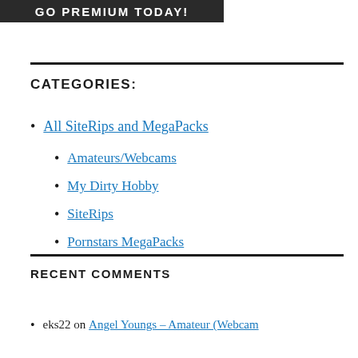[Figure (other): Dark banner with white bold uppercase text 'GO PREMIUM TODAY!']
CATEGORIES:
All SiteRips and MegaPacks
Amateurs/Webcams
My Dirty Hobby
SiteRips
Pornstars MegaPacks
RECENT COMMENTS
eks22 on Angel Youngs – Amateur (Webcam…